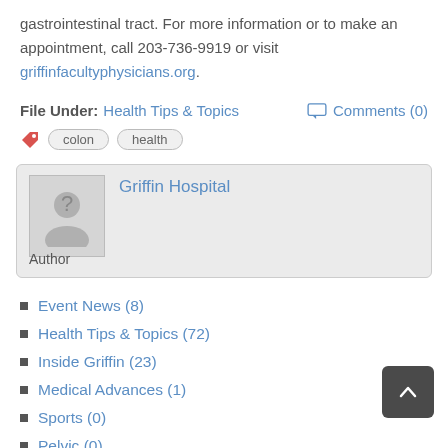gastrointestinal tract. For more information or to make an appointment, call 203-736-9919 or visit griffinfacultyphysicians.org.
File Under: Health Tips & Topics    Comments (0)
colon  health
Griffin Hospital
Author
Event News (8)
Health Tips & Topics (72)
Inside Griffin (23)
Medical Advances (1)
Sports (0)
Pelvic (0)